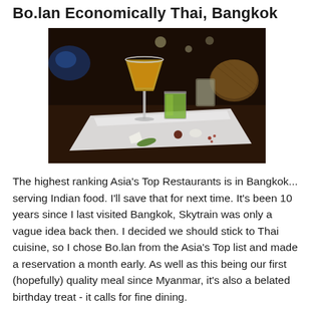Bo.lan Economically Thai, Bangkok
[Figure (photo): Dark atmospheric restaurant photo showing cocktail glasses and drinks on a white rectangular plate/tray. A tall martini glass with amber liquid and a shorter glass with green liquid are visible, along with small food garnishes on the plate. Dark background with dim lighting.]
The highest ranking Asia's Top Restaurants is in Bangkok... serving Indian food. I'll save that for next time. It's been 10 years since I last visited Bangkok, Skytrain was only a vague idea back then. I decided we should stick to Thai cuisine, so I chose Bo.lan from the Asia's Top list and made a reservation a month early. As well as this being our first (hopefully) quality meal since Myanmar, it's also a belated birthday treat - it calls for fine dining.
It was raining on the night so we didn't see the garden properly, but we gathered it would be nice to sit outside for drinks.